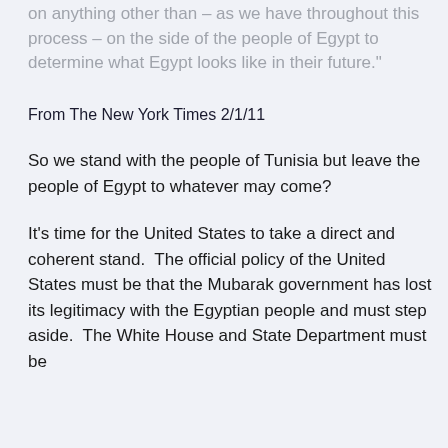on anything other than – as we have throughout this process – on the side of the people of Egypt to determine what Egypt looks like in their future."
From The New York Times 2/1/11
So we stand with the people of Tunisia but leave the people of Egypt to whatever may come?
It's time for the United States to take a direct and coherent stand.  The official policy of the United States must be that the Mubarak government has lost its legitimacy with the Egyptian people and must step aside.  The White House and State Department must be